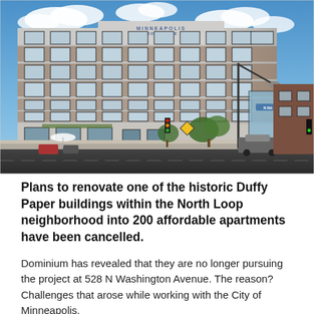[Figure (photo): Exterior rendering or photo of the historic Minneapolis Iron Store building (Duffy Paper building) at 528 N Washington Avenue in the North Loop neighborhood. A large multi-story brick and concrete industrial building with many windows, street-level retail, trees, traffic lights, a street sign reading N 6th Av, vehicles, and pedestrians visible at the corner intersection.]
Plans to renovate one of the historic Duffy Paper buildings within the North Loop neighborhood into 200 affordable apartments have been cancelled.
Dominium has revealed that they are no longer pursuing the project at 528 N Washington Avenue. The reason? Challenges that arose while working with the City of Minneapolis.